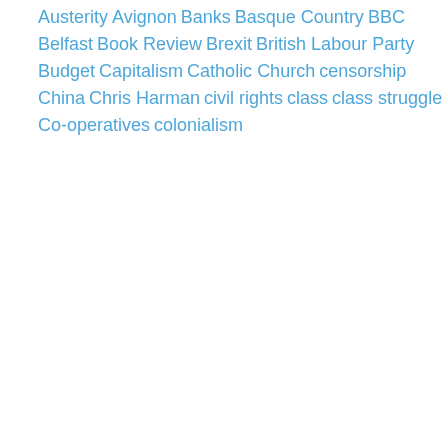Austerity
Avignon
Banks
Basque Country
BBC
Belfast
Book Review
Brexit
British Labour Party
Budget
Capitalism
Catholic Church
censorship
China
Chris Harman
civil rights
class
class struggle
Co-operatives
colonialism